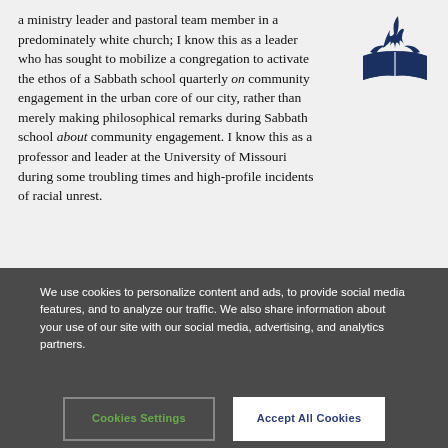a ministry leader and pastoral team member in a predominately white church; I know this as a leader who has sought to mobilize a congregation to activate the ethos of a Sabbath school quarterly on community engagement in the urban core of our city, rather than merely making philosophical remarks during Sabbath school about community engagement. I know this as a professor and leader at the University of Missouri during some troubling times and high-profile incidents of racial unrest.
[Figure (logo): Seventh-day Adventist Church logo - stylized open book with flame above it in dark navy blue]
We use cookies to personalize content and ads, to provide social media features, and to analyze our traffic. We also share information about your use of our site with our social media, advertising, and analytics partners.
Cookies Settings
Accept All Cookies